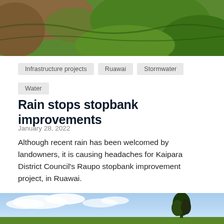[Figure (photo): Aerial or ground-level photo of green grassy land with brown earth/excavation visible, related to stopbank/earthworks project]
Infrastructure projects
Ruawai
Stormwater
Water
Rain stops stopbank improvements
January 28, 2022
Although recent rain has been welcomed by landowners, it is causing headaches for Kaipara District Council's Raupo stopbank improvement project, in Ruawai.
Read more
[Figure (photo): Photo of blue sky with white clouds and a tree silhouette on the right side, landscape scene]